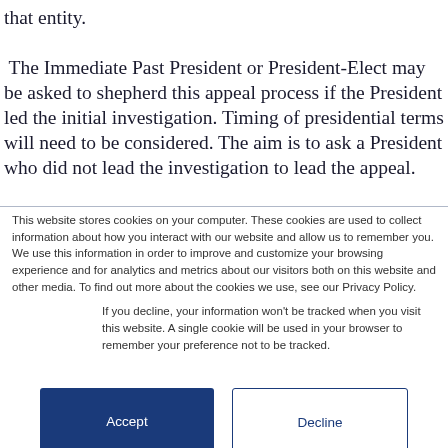that entity. The Immediate Past President or President-Elect may be asked to shepherd this appeal process if the President led the initial investigation. Timing of presidential terms will need to be considered. The aim is to ask a President who did not lead the investigation to lead the appeal.
This website stores cookies on your computer. These cookies are used to collect information about how you interact with our website and allow us to remember you. We use this information in order to improve and customize your browsing experience and for analytics and metrics about our visitors both on this website and other media. To find out more about the cookies we use, see our Privacy Policy.
If you decline, your information won't be tracked when you visit this website. A single cookie will be used in your browser to remember your preference not to be tracked.